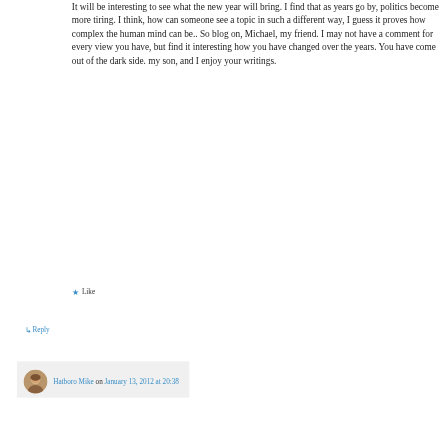It will be interesting to see what the new year will bring. I find that as years go by, politics become more tiring. I think, how can someone see a topic in such a different way, I guess it proves how complex the human mind can be.. So blog on, Michael, my friend. I may not have a comment for every view you have, but find it interesting how you have changed over the years. You have come out of the dark side. my son, and I enjoy your writings.
★ Like
↳ Reply
Hatboro Mike on January 13, 2012 at 20:38